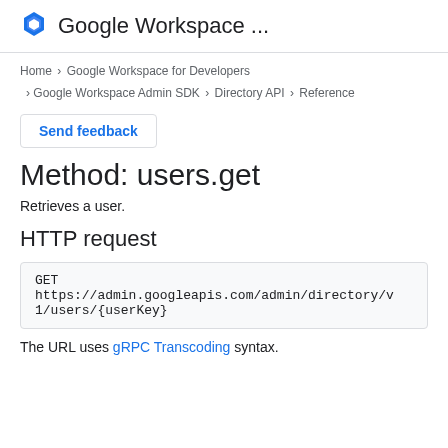Google Workspace ...
Home > Google Workspace for Developers > Google Workspace Admin SDK > Directory API > Reference
Send feedback
Method: users.get
Retrieves a user.
HTTP request
GET https://admin.googleapis.com/admin/directory/v1/users/{userKey}
The URL uses gRPC Transcoding syntax.